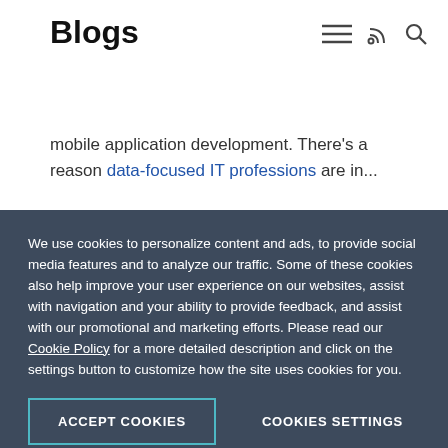Blogs
mobile application development. There's a reason data-focused IT professions are in...
Data Connectivity High Productivity
by Jeff Reser
We use cookies to personalize content and ads, to provide social media features and to analyze our traffic. Some of these cookies also help improve your user experience on our websites, assist with navigation and your ability to provide feedback, and assist with our promotional and marketing efforts. Please read our Cookie Policy for a more detailed description and click on the settings button to customize how the site uses cookies for you.
ACCEPT COOKIES
COOKIES SETTINGS